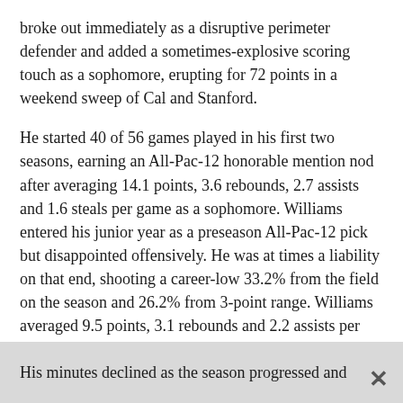broke out immediately as a disruptive perimeter defender and added a sometimes-explosive scoring touch as a sophomore, erupting for 72 points in a weekend sweep of Cal and Stanford.
He started 40 of 56 games played in his first two seasons, earning an All-Pac-12 honorable mention nod after averaging 14.1 points, 3.6 rebounds, 2.7 assists and 1.6 steals per game as a sophomore. Williams entered his junior year as a preseason All-Pac-12 pick but disappointed offensively. He was at times a liability on that end, shooting a career-low 33.2% from the field on the season and 26.2% from 3-point range. Williams averaged 9.5 points, 3.1 rebounds and 2.2 assists per game.
His minutes declined as the season progressed and